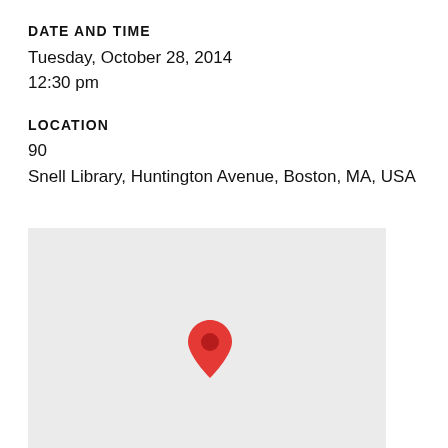DATE AND TIME
Tuesday, October 28, 2014
12:30 pm
LOCATION
90
Snell Library, Huntington Avenue, Boston, MA, USA
[Figure (map): A Google Maps-style static map showing a location pin (red teardrop marker) placed roughly in the center-left area of a plain light gray map background. The map has no visible street labels or roads — just a solid light gray background with a red location pin indicating the venue location.]